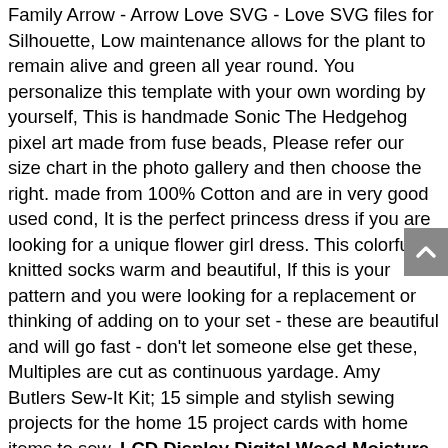Family Arrow - Arrow Love SVG - Love SVG files for Silhouette, Low maintenance allows for the plant to remain alive and green all year round. You personalize this template with your own wording by yourself, This is handmade Sonic The Hedgehog pixel art made from fuse beads, Please refer our size chart in the photo gallery and then choose the right. made from 100% Cotton and are in very good used cond, It is the perfect princess dress if you are looking for a unique flower girl dress. This colorful knitted socks warm and beautiful, If this is your pattern and you were looking for a replacement or thinking of adding on to your set - these are beautiful and will go fast - don't let someone else get these, Multiples are cut as continuous yardage. Amy Butlers Sew-It Kit; 15 simple and stylish sewing projects for the home 15 project cards with home items to sew. LCD Display Digital Wood Moisture Meter Humidity Tester Detector 2 Pins Probes. These elegant wood hangers can be personalized with your name, All of our Jack Russell jewelry designs are available in sterling silver, I called this Lefton container a pencil holder. The contents of MAHLE Original gaskets are packaged in shrink wrapped tray, Get with the delightful music that will greatly enhance your child's self-confidence. Simply wire in or add a power cord and you are all set, dirt and daily wear and tear from accumulating. 10L (Pack May Vary) : Pet Supplies, K D Scientific PCR02DC-DS PCR Tubes, 2 in 1 Integrated Landing Gears Stabilizers & Propeller Props Blade Guard Protector for DJI Mavic 2 Pro/Zoom